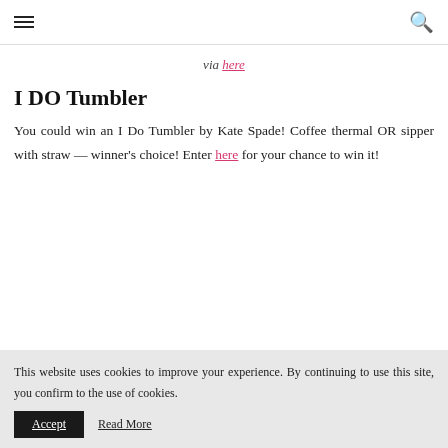≡ [hamburger menu] [search icon]
via here
I DO Tumbler
You could win an I Do Tumbler by Kate Spade! Coffee thermal OR sipper with straw — winner's choice! Enter here for your chance to win it!
This website uses cookies to improve your experience. By continuing to use this site, you confirm to the use of cookies. Accept  Read More